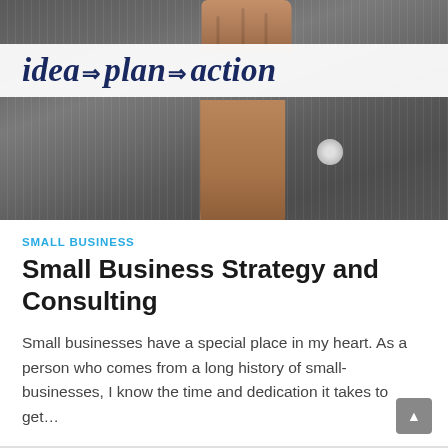[Figure (photo): Person in a pinstripe suit holding up a card or sign with the text 'idea → plan → action' written in italic dark navy script. The image shows partial view of the person from torso up, with a hand visible at the top holding the card.]
SMALL BUSINESS
Small Business Strategy and Consulting
Small businesses have a special place in my heart. As a person who comes from a long history of small-businesses, I know the time and dedication it takes to get…